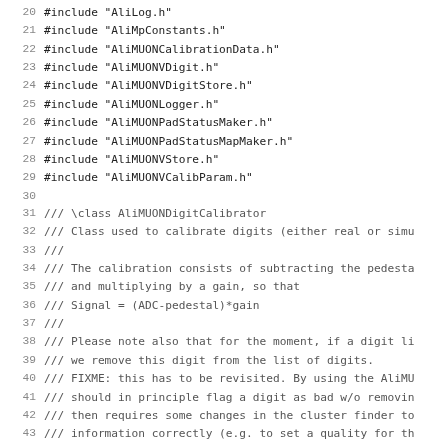Source code listing lines 20-51 of AliMUONDigitCalibrator implementation file, showing #include directives and Doxygen comment block.